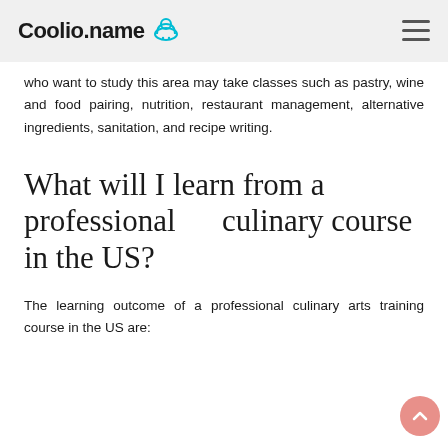Coolio.name
who want to study this area may take classes such as pastry, wine and food pairing, nutrition, restaurant management, alternative ingredients, sanitation, and recipe writing.
What will I learn from a professional culinary course in the US?
The learning outcome of a professional culinary arts training course in the US are: